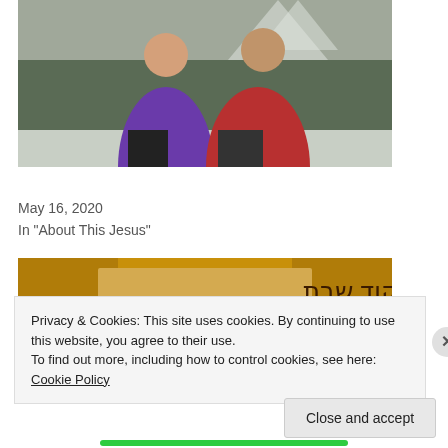[Figure (photo): Two people in winter jackets (one purple, one red) standing outdoors in a snowy mountain landscape.]
Crossing the Line
May 16, 2020
In "About This Jesus"
[Figure (photo): Image showing Hebrew text 'בפיקוד שבת' on a golden/brown background.]
Privacy & Cookies: This site uses cookies. By continuing to use this website, you agree to their use.
To find out more, including how to control cookies, see here: Cookie Policy